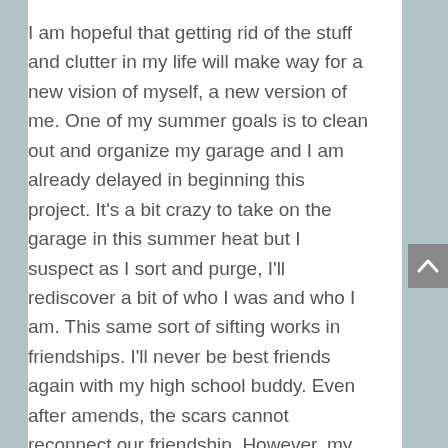I am hopeful that getting rid of the stuff and clutter in my life will make way for a new vision of myself, a new version of me. One of my summer goals is to clean out and organize my garage and I am already delayed in beginning this project. It's a bit crazy to take on the garage in this summer heat but I suspect as I sort and purge, I'll rediscover a bit of who I was and who I am. This same sort of sifting works in friendships. I'll never be best friends again with my high school buddy. Even after amends, the scars cannot reconnect our friendship. However, my friend of fifty-two years is still in my life. My best friends from college and graduate school are